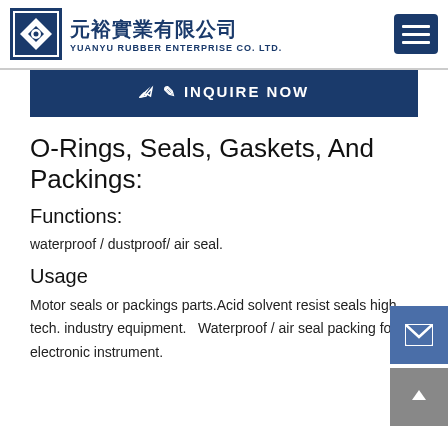元裕實業有限公司 YUANYU RUBBER ENTERPRISE CO. LTD.
INQUIRE NOW
O-Rings, Seals, Gaskets, And Packings:
Functions:
waterproof / dustproof/ air seal.
Usage
Motor seals or packings parts.Acid solvent resist seals high tech. industry equipment.   Waterproof / air seal packing for electronic instrument.